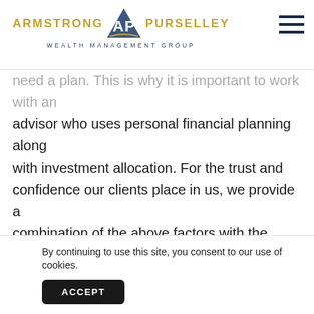ARMSTRONG AP PURSELLEY WEALTH MANAGEMENT GROUP
need a plan. This is why it is important to work with an advisor who uses personal financial planning along with investment allocation. For the trust and confidence our clients place in us, we provide a combination of the above factors with the knowledge of you: Knowing your goals and objectives. Knowing whether or not the account you opened is to fund your daughter's wedding or your own long term care. Knowing your ideal retirement dream would be to play g... b...
By continuing to use this site, you consent to our use of cookies.
ACCEPT